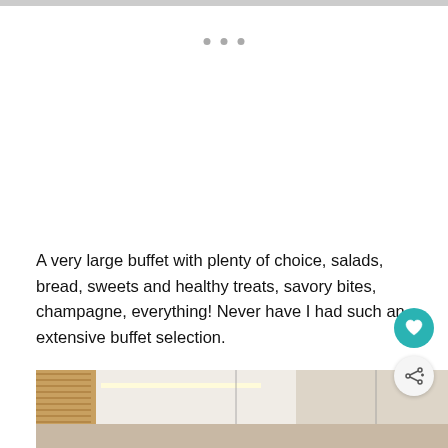A very large buffet with plenty of choice, salads, bread, sweets and healthy treats, savory bites, champagne, everything! Never have I had such an extensive buffet selection.
[Figure (photo): Interior photo of a hotel or restaurant room showing a modern ceiling with recessed lighting strips and pendant lights.]